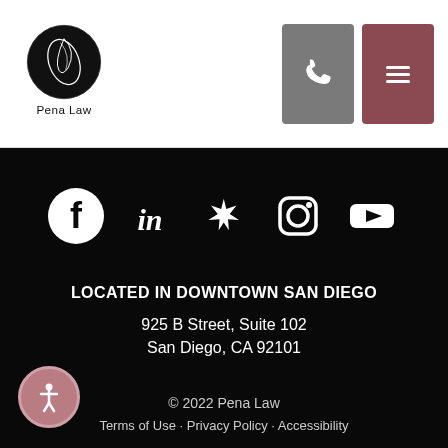[Figure (logo): Pena Law circular logo with stylized design and text 'Pena Law' below]
[Figure (other): Header navigation buttons: phone icon (gray) and hamburger menu icon (dark red/maroon)]
[Figure (other): Social media icons row: Facebook, LinkedIn, Yelp, Instagram, YouTube — all white on black background]
LOCATED IN DOWNTOWN SAN DIEGO
925 B Street, Suite 102
San Diego, CA 92101
© 2022 Pena Law
Terms of Use • Privacy Policy • Accessibility